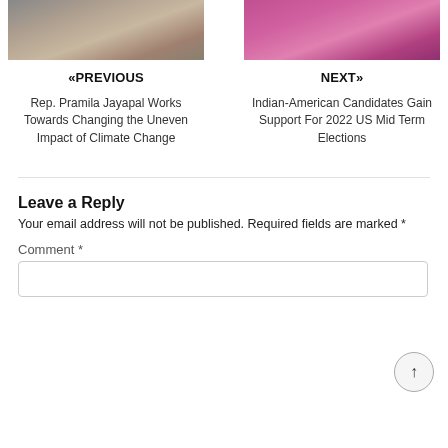[Figure (photo): Photo of Rep. Pramila Jayapal (left) and an Indian-American candidate (right), navigation thumbnails]
«PREVIOUS
NEXT»
Rep. Pramila Jayapal Works Towards Changing the Uneven Impact of Climate Change
Indian-American Candidates Gain Support For 2022 US Mid Term Elections
Leave a Reply
Your email address will not be published. Required fields are marked *
Comment *